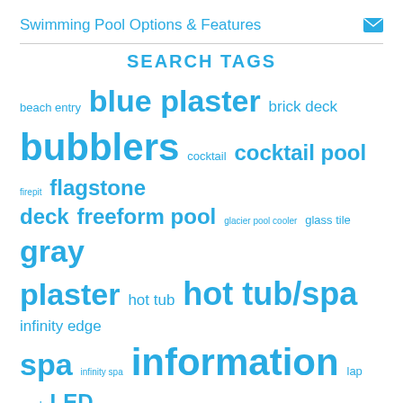Swimming Pool Options & Features
SEARCH TAGS
beach entry blue plaster brick deck bubblers cocktail cocktail pool firepit flagstone deck freeform pool glacier pool cooler glass tile gray plaster hot tub hot tub/spa infinity edge spa infinity spa information lap pool LED colored lighting paver deck pavers rectangular rectangular rectangular pool renovation/remodel saltwater